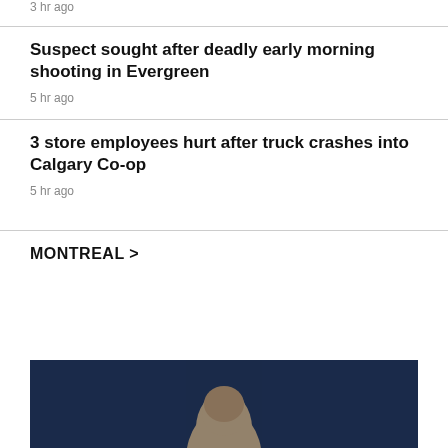3 hr ago
Suspect sought after deadly early morning shooting in Evergreen
5 hr ago
3 store employees hurt after truck crashes into Calgary Co-op
5 hr ago
MONTREAL >
[Figure (photo): Photo of a person against a dark blue background]